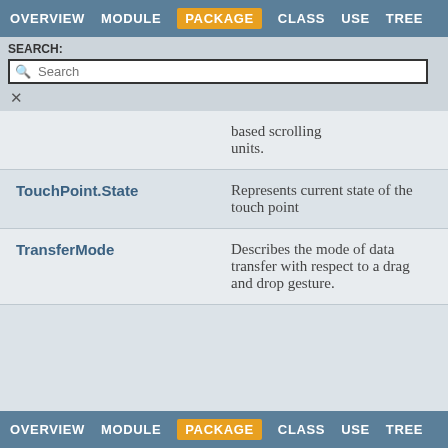OVERVIEW  MODULE  PACKAGE  CLASS  USE  TREE
SEARCH:
| Class | Description |
| --- | --- |
|  | based scrolling units. |
| TouchPoint.State | Represents current state of the touch point |
| TransferMode | Describes the mode of data transfer with respect to a drag and drop gesture. |
OVERVIEW  MODULE  PACKAGE  CLASS  USE  TREE